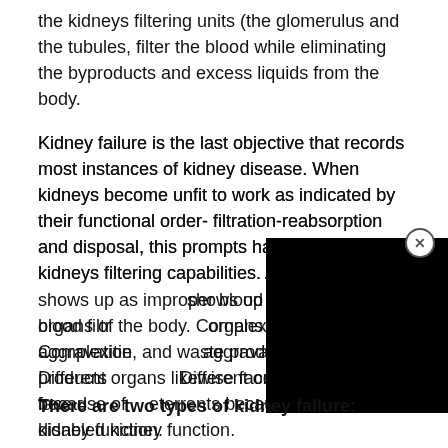the kidneys filtering units (the glomerulus and the tubules, filter the blood while eliminating the byproducts and excess liquids from the body.
Kidney failure is the last objective that records most instances of kidney disease. When kidneys become unfit to work as indicated by their functional order- filtration-reabsorption and disposal, this prompts hampering the kidneys filtering capabilities. A s[obscured] shows up as improper blood filtr[obscured] organs of the body. Complexitie[obscured] aggravation, and waste products[obscured] Different organs likewise face deterrents because of disabled kidney function.
There are two types of kidney failure: